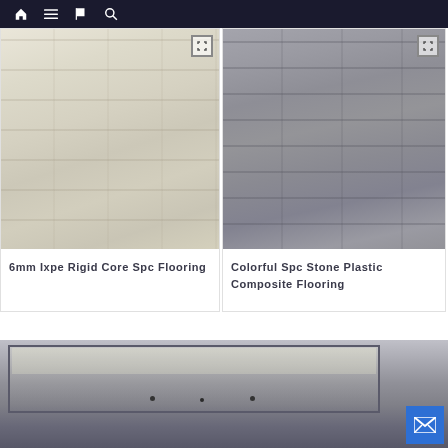Navigation bar with home, menu, book, and search icons
[Figure (photo): Light beige/cream wood grain SPC flooring texture arranged in horizontal planks]
6mm Ixpe Rigid Core Spc Flooring
[Figure (photo): Dark grey wood grain SPC stone plastic composite flooring texture in horizontal planks]
Colorful Spc Stone Plastic Composite Flooring
[Figure (photo): Interior room photo showing recessed ceiling with rectangular light panel frames and pendant lighting, with a mail/envelope contact button overlay in blue]